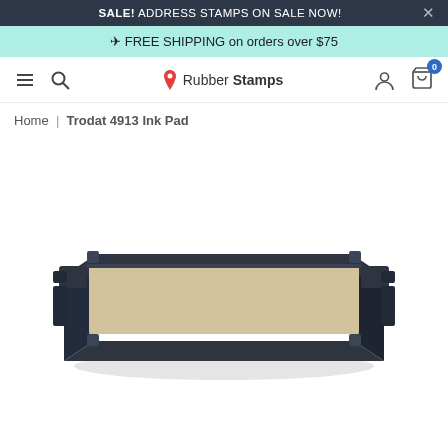SALE! ADDRESS STAMPS ON SALE NOW!
FREE SHIPPING on orders over $75
[Figure (logo): RubberStamps.com logo with red map pin icon]
Home | Trodat 4913 Ink Pad
[Figure (photo): Trodat 4913 Ink Pad product photo — rectangular black plastic frame with dry beige/tan pad insert, viewed from slight angle]